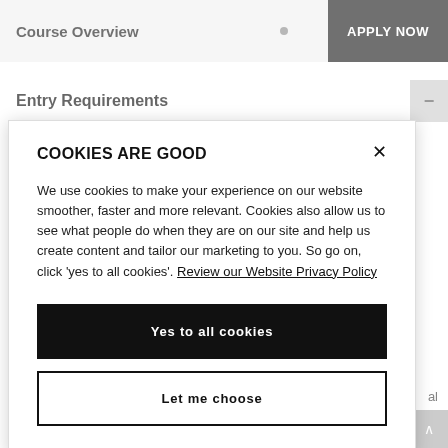Course Overview | APPLY NOW
Entry Requirements
[Figure (screenshot): Cookie consent modal dialog with title 'COOKIES ARE GOOD', body text about cookie usage with a link to 'Review our Website Privacy Policy', a black 'Yes to all cookies' button, and a white 'Let me choose' button with a close X button in the top right corner.]
or following, this degree).